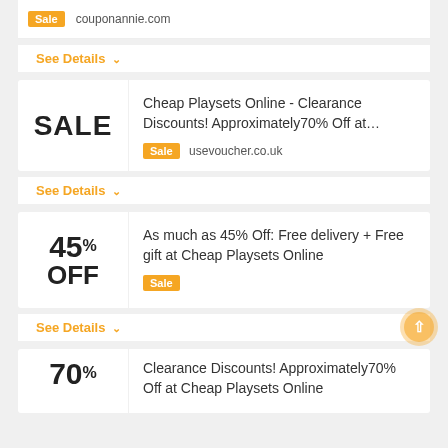[Figure (other): Sale badge with couponannie.com source label at top strip]
See Details ∨
[Figure (other): Card with SALE text and deal: Cheap Playsets Online - Clearance Discounts! Approximately70% Off at… from usevoucher.co.uk]
See Details ∨
[Figure (other): Card with 45% OFF badge: As much as 45% Off: Free delivery + Free gift at Cheap Playsets Online, Sale badge]
See Details ∨
[Figure (other): Card with 70% discount: Clearance Discounts! Approximately70% Off at Cheap Playsets Online (partial)]